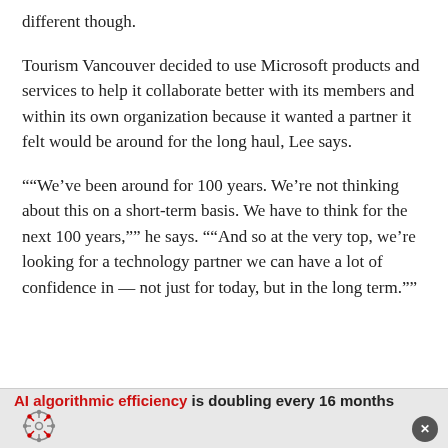different though.
Tourism Vancouver decided to use Microsoft products and services to help it collaborate better with its members and within its own organization because it wanted a partner it felt would be around for the long haul, Lee says.
""We've been around for 100 years. We're not thinking about this on a short-term basis. We have to think for the next 100 years,"" he says. ""And so at the very top, we're looking for a technology partner we can have a lot of confidence in — not just for today, but in the long term.""
AI algorithmic efficiency is doubling every 16 months